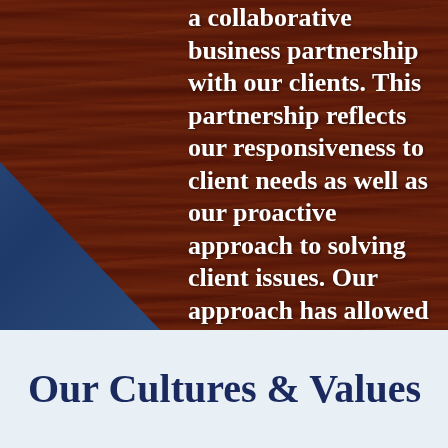[Figure (photo): Dark mahogany wood grain background texture with a dark blue geometric shape in the lower-left corner]
a collaborative business partnership with our clients. This partnership reflects our responsiveness to client needs as well as our proactive approach to solving client issues. Our approach has allowed the firm to prosper for over 30 years, averaging double digit annual growth during that time.
Our Cultures & Values